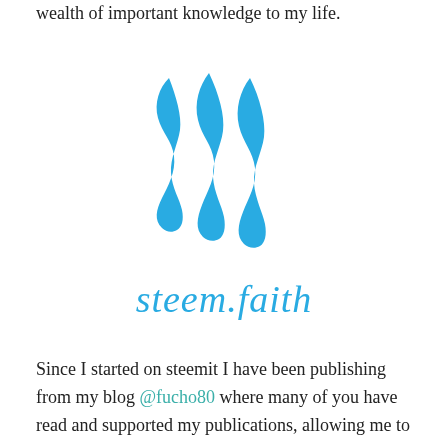wealth of important knowledge to my life.
[Figure (logo): Steem.faith logo: three blue wavy vertical stripes above the italic blue text 'steem.faith']
Since I started on steemit I have been publishing from my blog @fucho80 where many of you have read and supported my publications, allowing me to